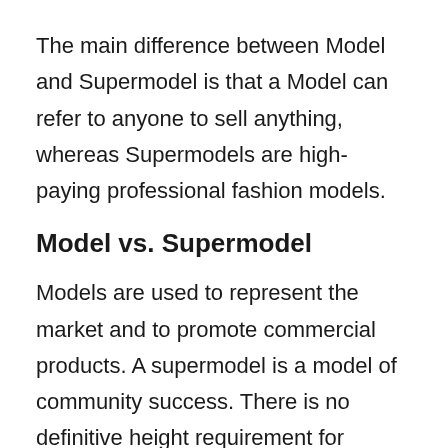The main difference between Model and Supermodel is that a Model can refer to anyone to sell anything, whereas Supermodels are high-paying professional fashion models.
Model vs. Supermodel
Models are used to represent the market and to promote commercial products. A supermodel is a model of community success. There is no definitive height requirement for models, although being less than 5'4 “is considered a short side. They usually look for a conventionally beautiful or lovely face that